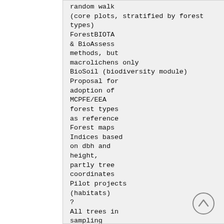random walk
(core plots, stratified by forest
types)
ForestBIOTA
& BioAssess
methods, but
macrolichens only
BioSoil (biodiversity module)
Proposal for
adoption of
MCPFE/EEA
forest types
as reference
Forest maps
Indices based
on dbh and
height,
partly tree
coordinates
Pilot projects
(habitats)
?
All trees in
sampling